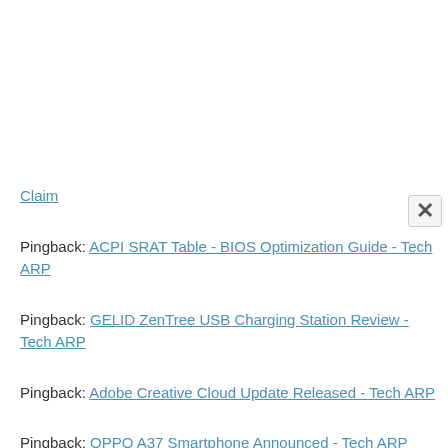Pingback: [link - partially visible] Claim
Pingback: ACPI SRAT Table - BIOS Optimization Guide - Tech ARP
Pingback: GELID ZenTree USB Charging Station Review - Tech ARP
Pingback: Adobe Creative Cloud Update Released - Tech ARP
Pingback: OPPO A37 Smartphone Announced - Tech ARP
Pingback: Samsung Sweeps Cannes Lions Creativity Awards - Tech ARP